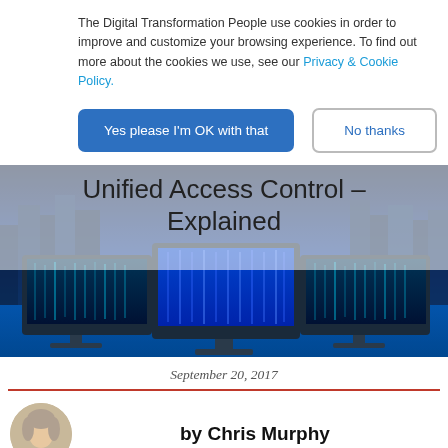The Digital Transformation People use cookies in order to improve and customize your browsing experience. To find out more about the cookies we use, see our Privacy & Cookie Policy.
Yes please I'm OK with that
No thanks
[Figure (photo): Hero banner image showing three computer monitors with blue digital data streams on a city skyline background, with a semi-transparent white overlay containing the article title 'Unified Access Control – Explained']
Unified Access Control – Explained
September 20, 2017
by Chris Murphy